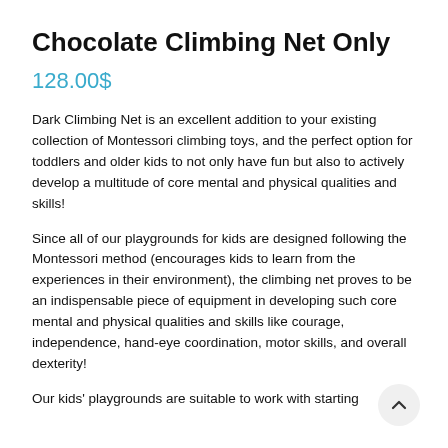Chocolate Climbing Net Only
128.00$
Dark Climbing Net is an excellent addition to your existing collection of Montessori climbing toys, and the perfect option for toddlers and older kids to not only have fun but also to actively develop a multitude of core mental and physical qualities and skills!
Since all of our playgrounds for kids are designed following the Montessori method (encourages kids to learn from the experiences in their environment), the climbing net proves to be an indispensable piece of equipment in developing such core mental and physical qualities and skills like courage, independence, hand-eye coordination, motor skills, and overall dexterity!
Our kids' playgrounds are suitable to work with starting